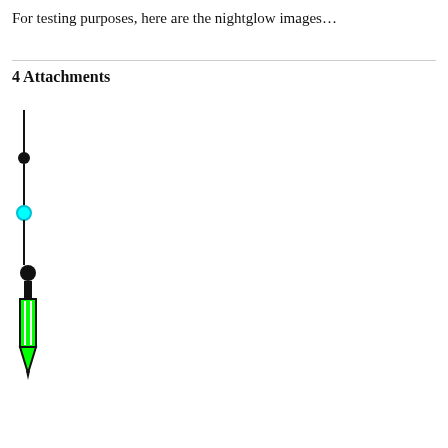For testing purposes, here are the nightglow images…
4 Attachments
[Figure (illustration): A vertical line with a filled black circle near the top and a cyan/turquoise open circle below it, representing a nightglow image attachment icon.]
[Figure (illustration): A pixelated icon of a probe or arrow-like instrument with a black circle at the top, a narrow shaft, and a green triangular pointed tip at the bottom, resembling a stylized nightglow instrument.]